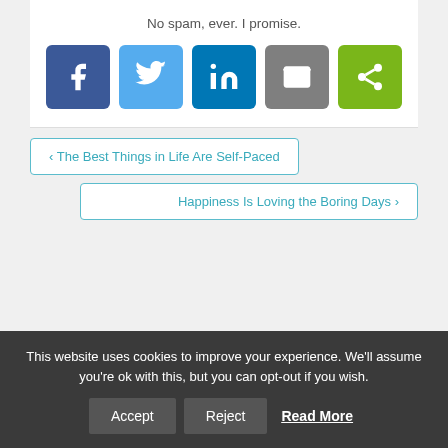No spam, ever. I promise.
[Figure (other): Social share buttons: Facebook, Twitter, LinkedIn, Email, Share]
❮ The Best Things in Life Are Self-Paced
Happiness Is Loving the Boring Days ❯
This website uses cookies to improve your experience. We'll assume you're ok with this, but you can opt-out if you wish. Accept Reject Read More